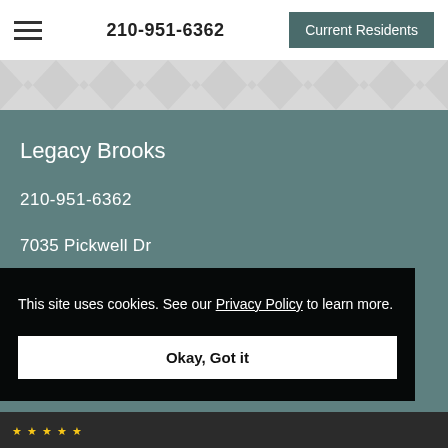210-951-6362   Current Residents
Legacy Brooks
210-951-6362
7035 Pickwell Dr
This site uses cookies. See our Privacy Policy to learn more.
Okay, Got it